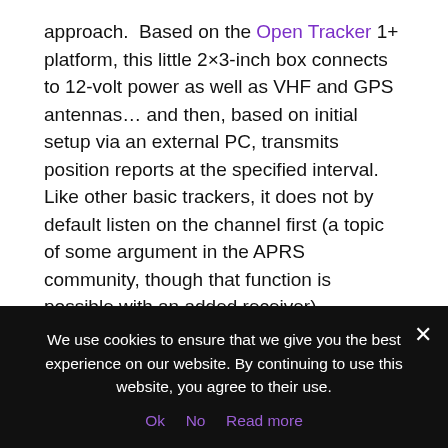approach. Based on the Open Tracker 1+ platform, this little 2×3-inch box connects to 12-volt power as well as VHF and GPS antennas… and then, based on initial setup via an external PC, transmits position reports at the specified interval. Like other basic trackers, it does not by default listen on the channel first (a topic of some argument in the APRS community, though that function is possible with an added receiver).
The beauty of this is that it's small and low power (only 40 mA standby, and 350 mA during brief transmit bursts with 5 watts into the antenna). Standard frequency is 144.39 MHz, but they can work anywhere in the 2-meter band.
We use cookies to ensure that we give you the best experience on our website. By continuing to use this website, you agree to their use.
Ok   No   Read more